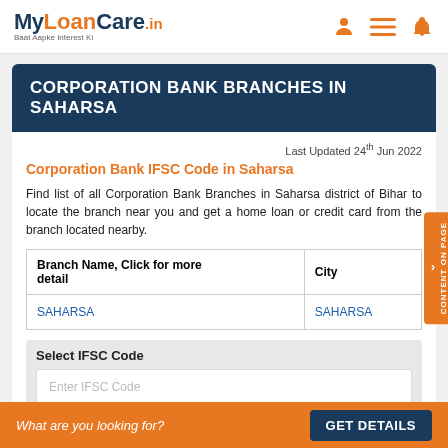MyLoanCare.in Baat Aapke Interest Ki
CORPORATION BANK BRANCHES IN SAHARSA
Last Updated 24th Jun 2022
Corporation Bank IFSC Code in Saharsa
Find list of all Corporation Bank Branches in Saharsa district of Bihar to locate the branch near you and get a home loan or credit card from the branch located nearby.
| Branch Name, Click for more detail | City |
| --- | --- |
| SAHARSA | SAHARSA |
Select IFSC Code
Enter IFSC Code
What are you looking for? GET DETAILS